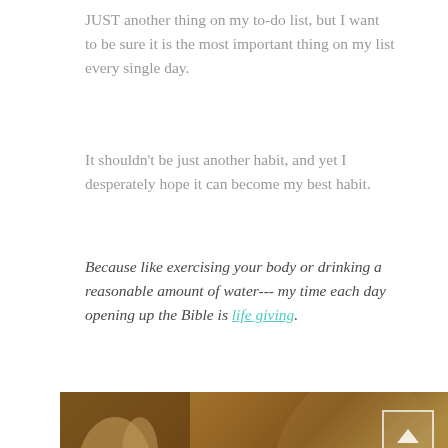JUST another thing on my to-do list, but I want to be sure it is the most important thing on my list every single day.
It shouldn't be just another habit, and yet I desperately hope it can become my best habit.
Because like exercising your body or drinking a reasonable amount of water--- my time each day opening up the Bible is life giving.
[Figure (photo): Photo of hands holding a book (Bible) against a warm golden/mustard background, with large white bold uppercase text overlay reading 'MAKING TIME WITH JESUS' and partially visible text below. A small white bordered box with an upward arrow is visible in the upper right corner of the image.]